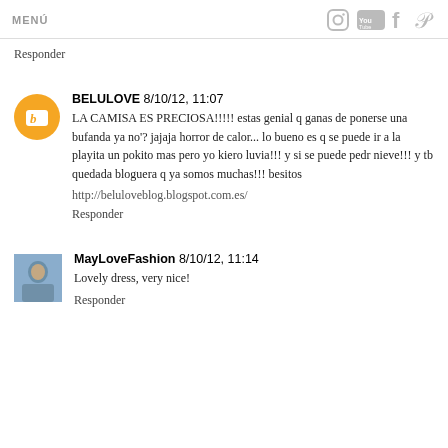MENÚ
Responder
BELULOVE 8/10/12, 11:07
LA CAMISA ES PRECIOSA!!!!! estas genial q ganas de ponerse una bufanda ya no'? jajaja horror de calor... lo bueno es q se puede ir a la playita un pokito mas pero yo kiero luvia!!! y si se puede pedr nieve!!! y tb quedada bloguera q ya somos muchas!!! besitos
http://beluloveblog.blogspot.com.es/
Responder
MayLoveFashion 8/10/12, 11:14
Lovely dress, very nice!
Responder